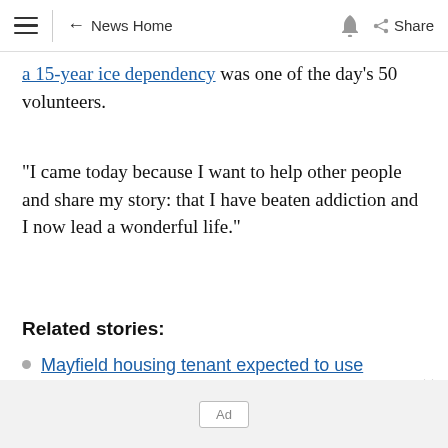≡ | ← News Home 🔔 Share
a 15-year ice dependency was one of the day's 50 volunteers.
"I came today because I want to help other people and share my story: that I have beaten addiction and I now lead a wonderful life."
Related stories:
Mayfield housing tenant expected to use portaloo over winter